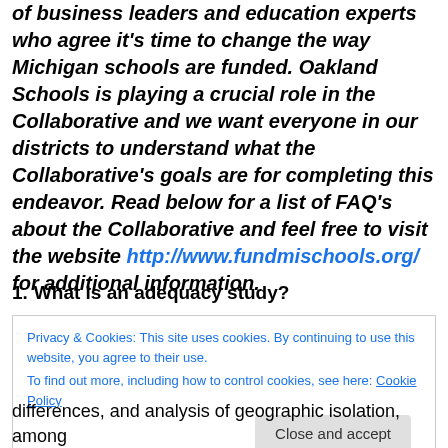of business leaders and education experts who agree it's time to change the way Michigan schools are funded. Oakland Schools is playing a crucial role in the Collaborative and we want everyone in our districts to understand what the Collaborative's goals are for completing this endeavor. Read below for a list of FAQ's about the Collaborative and feel free to visit the website http://www.fundmischools.org/ for additional information.
1. What is an adequacy study?
Privacy & Cookies: This site uses cookies. By continuing to use this website, you agree to their use.
To find out more, including how to control cookies, see here: Cookie Policy
Close and accept
differences, and analysis of geographic isolation, among